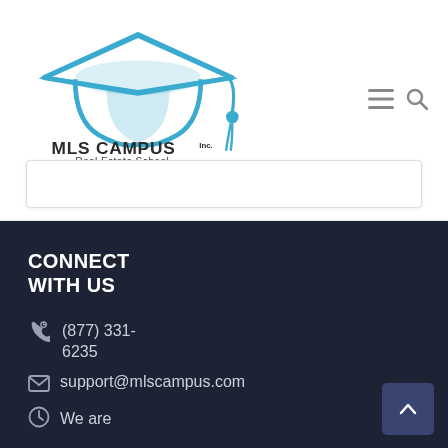[Figure (logo): MLS Campus Inc. Real Estate School logo with graduation cap in blue]
MLS CAMPUS Inc. Real Estate School - navigation header with hamburger menu and search icon
CONNECT WITH US | (877) 331-6235 | support@mlscampus.com | We are available...
(877) 331-6235
support@mlscampus.com
We are